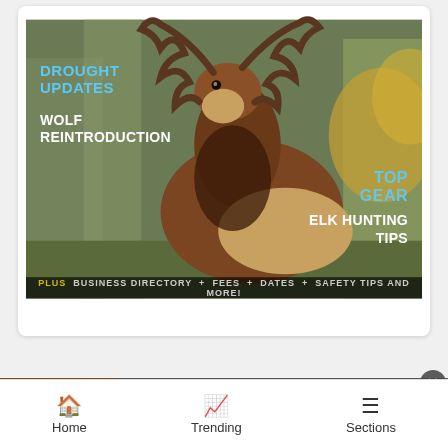[Figure (photo): Magazine cover featuring a bull elk with large antlers standing in a forest setting. Text overlays include: 'DROUGHT UPDATES' in blue, 'WOLF REINTRODUCTION' in white, 'TOP GEAR' in blue on right, 'ELK HUNTING TIPS' in white on right, and bottom bar 'PLUS BUSINESS DIRECTORY + FEES + DATES + SAFETY TIPS AND MORE!' in white/yellow.]
[Figure (infographic): Advertisement banner showing pizza image on left, Seamless logo in red center, and 'ORDER NOW' button on right, against dark background.]
Eve
Home   Trending   Sections